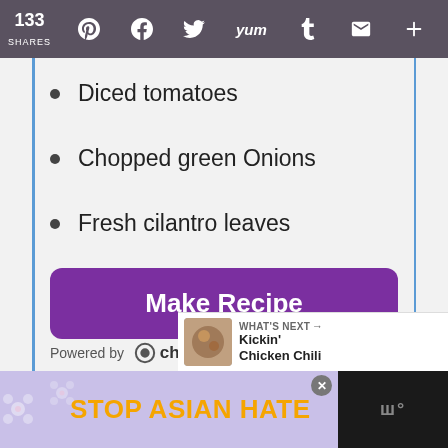133 SHARES
Diced tomatoes
Chopped green Onions
Fresh cilantro leaves
Make Recipe
Powered by chicory
WHAT'S NEXT → Kickin' Chicken Chili
STOP ASIAN HATE